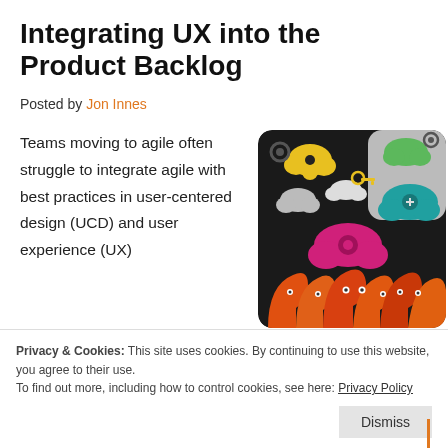Integrating UX into the Product Backlog
Posted by Jon Innes
Teams moving to agile often struggle to integrate agile with best practices in user-centered design (UCD) and user experience (UX)
[Figure (illustration): Colorful stylized illustration of orange human head silhouettes with thought-bubble cloud icons in various colors (yellow, green, grey, pink, teal) on a dark background, representing collaborative or creative thinking concepts.]
Privacy & Cookies: This site uses cookies. By continuing to use this website, you agree to their use.
To find out more, including how to control cookies, see here: Privacy Policy